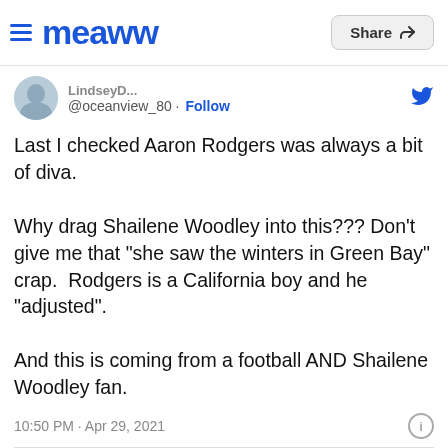[Figure (logo): Meaww website logo with hamburger menu icon and blue wave/text logo]
[Figure (other): Share button in top right corner]
[Figure (photo): User avatar photo - circular profile picture of a woman]
@oceanview_80 · Follow
Last I checked Aaron Rodgers was always a bit of diva.

Why drag Shailene Woodley into this??? Don't give me that "she saw the winters in Green Bay" crap.  Rodgers is a California boy and he "adjusted".

And this is coming from a football AND Shailene Woodley fan.
10:50 PM · Apr 29, 2021
1  Reply  Copy link to Tweet
Explore what's happening on Twitter